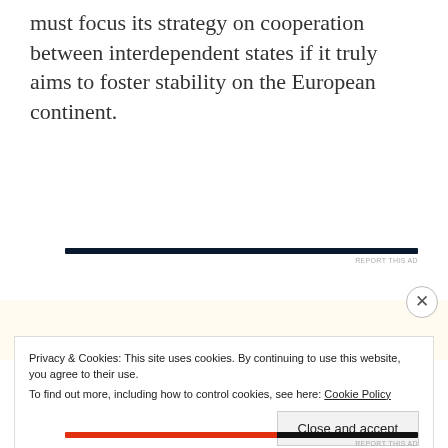must focus its strategy on cooperation between interdependent states if it truly aims to foster stability on the European continent.
Privacy & Cookies: This site uses cookies. By continuing to use this website, you agree to their use.
To find out more, including how to control cookies, see here: Cookie Policy